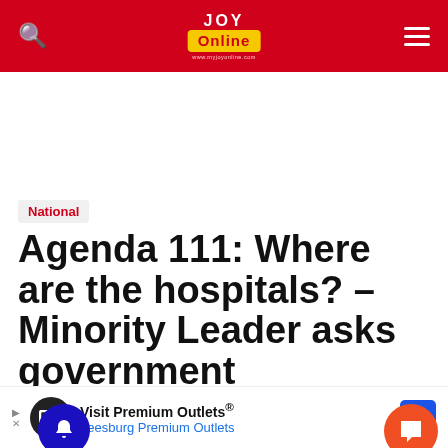Joy Online
National
Agenda 111: Where are the hospitals? – Minority Leader asks government
Stessie Ola-Morris
June 2022 6:32am
Visit Premium Outlets® Leesburg Premium Outlets